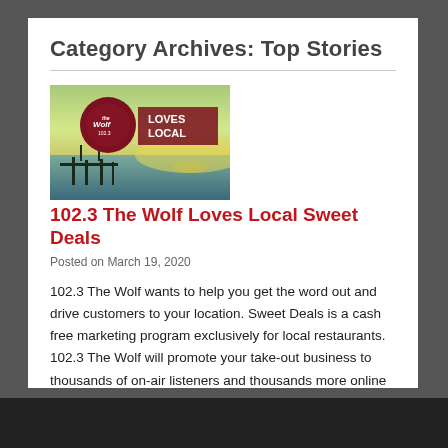Category Archives: Top Stories
[Figure (photo): 102.3 The Wolf Loves Local promotional image with logo on a scenic waterfront sunset background]
102.3 The Wolf Loves Local Sweet Deals
Posted on March 19, 2020
102.3 The Wolf wants to help you get the word out and drive customers to your location. Sweet Deals is a cash free marketing program exclusively for local restaurants.  102.3 The Wolf will promote your take-out business to thousands of on-air listeners and thousands more online fans. Let 102.3 The Wolf